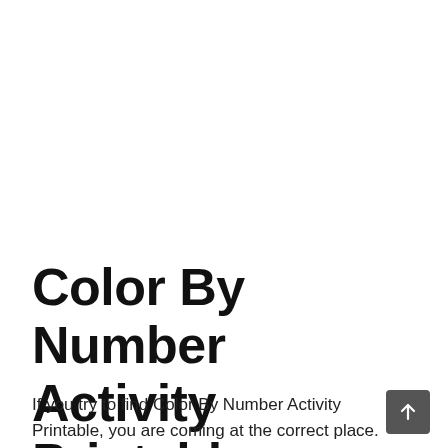Color By Number Activity Printable
If you try to find Color By Number Activity Printable, you are coming at the correct place. 1000+ free printable Color by Number are available here. Download Color By Number Activity